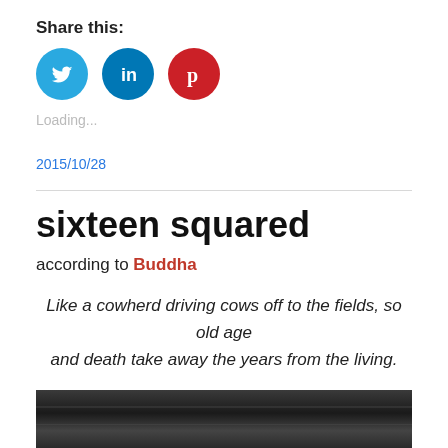Share this:
[Figure (infographic): Three social media share buttons: Twitter (blue circle with bird icon), LinkedIn (blue circle with 'in'), Pinterest (red circle with 'p' logo)]
Loading...
2015/10/28
sixteen squared
according to Buddha
Like a cowherd driving cows off to the fields, so old age and death take away the years from the living.
[Figure (photo): Black and white photograph of wooden planks or flooring, cropped at the bottom of the page]